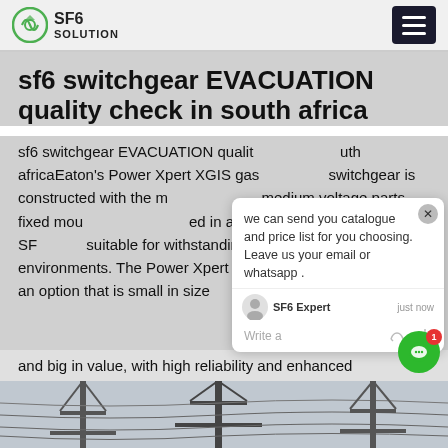SF6 SOLUTION
sf6 switchgear EVACUATION quality check in south africa
sf6 switchgear EVACUATION quality check in south africaEaton's Power Xpert XGIS gas switchgear is constructed with the medium voltage parts fixed mounted in a laser welded stainless steel SF6 suitable for withstanding harsh, corrosive environments. The Power Xpert XGIS mv switchgear delivers an option that is small in size and big in value, with high reliability and enhanced
and big in value, with high reliability and enhanced
[Figure (photo): Electrical transmission tower/pylon with power lines against a grey sky]